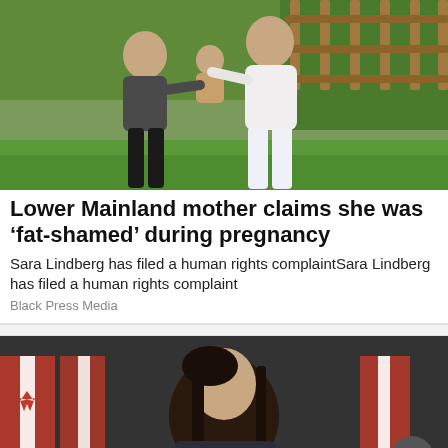[Figure (photo): A family of three outdoors — a man in dark t-shirt and black shorts, a woman in white top and white jeans, holding a baby in a leopard-print outfit. Background shows green grass and a wooden fence.]
Lower Mainland mother claims she was ‘fat-shamed’ during pregnancy
Sara Lindberg has filed a human rights complaintSara Lindberg has filed a human rights complaint
Black Press Media
[Figure (photo): A woman with long dark hair in front of Canadian flags (partial view, cropped). A dark grey circular scroll-up button overlay is visible at bottom right.]